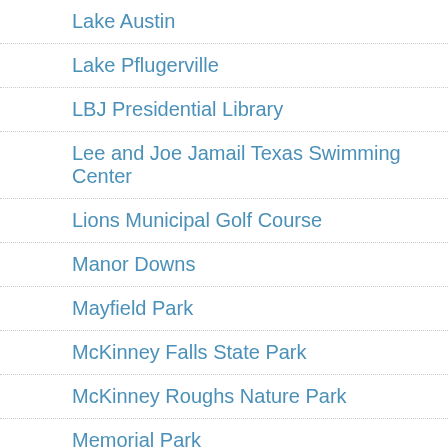Lake Austin
Lake Pflugerville
LBJ Presidential Library
Lee and Joe Jamail Texas Swimming Center
Lions Municipal Golf Course
Manor Downs
Mayfield Park
McKinney Falls State Park
McKinney Roughs Nature Park
Memorial Park
Mesa Village Park
Mexic Arte Museum
Mike A. Myers Stadium